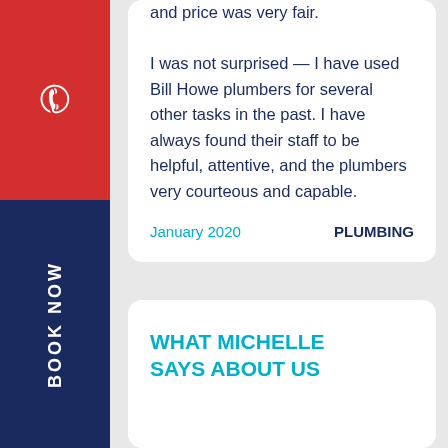and price was very fair. I was not surprised — I have used Bill Howe plumbers for several other tasks in the past. I have always found their staff to be helpful, attentive, and the plumbers very courteous and capable.
January 2020    PLUMBING
[Figure (other): Red phone button with white phone icon on left sidebar]
BOOK NOW
WHAT MICHELLE SAYS ABOUT US